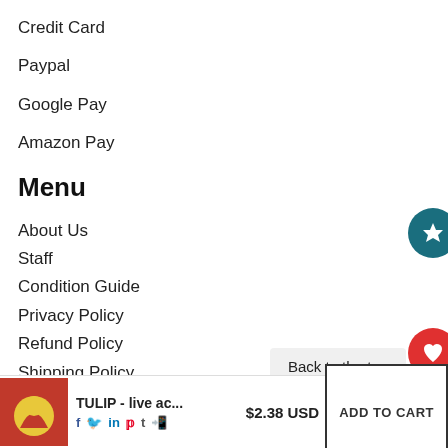Credit Card
Paypal
Google Pay
Amazon Pay
Menu
About Us
Staff
Condition Guide
Privacy Policy
Refund Policy
Shipping Policy
Terms of Service
Back to the top
[Figure (other): Product thumbnail with tulip/sun graphic on red background]
TULIP - live ac...  $2.38 USD
ADD TO CART